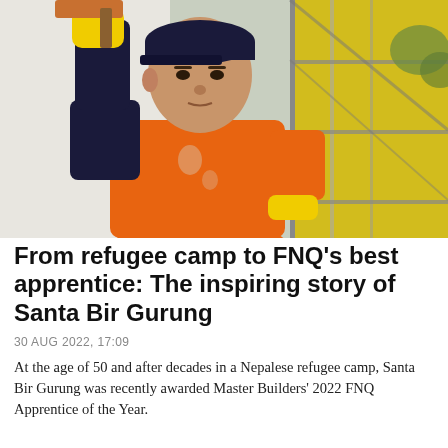[Figure (photo): A man wearing an orange hi-vis work shirt, yellow rubber gloves, and a dark cap, plastering or rendering a white wall on a construction scaffold. Yellow scaffold sheeting is visible in the background.]
From refugee camp to FNQ's best apprentice: The inspiring story of Santa Bir Gurung
30 AUG 2022, 17:09
At the age of 50 and after decades in a Nepalese refugee camp, Santa Bir Gurung was recently awarded Master Builders' 2022 FNQ Apprentice of the Year.